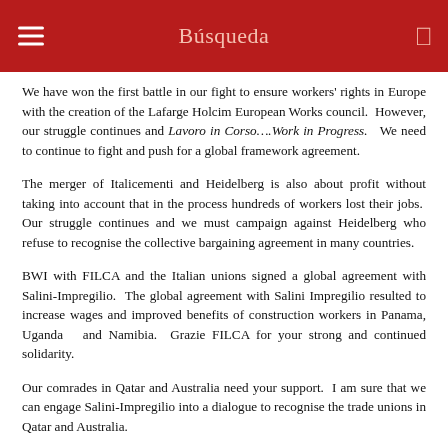Búsqueda
We have won the first battle in our fight to ensure workers' rights in Europe with the creation of the Lafarge Holcim European Works council.  However, our struggle continues and Lavoro in Corso….Work in Progress.   We need to continue to fight and push for a global framework agreement.
The merger of Italicementi and Heidelberg is also about profit without taking into account that in the process hundreds of workers lost their jobs.  Our struggle continues and we must campaign against Heidelberg who refuse to recognise the collective bargaining agreement in many countries.
BWI with FILCA and the Italian unions signed a global agreement with Salini-Impregilio.  The global agreement with Salini Impregilio resulted to increase wages and improved benefits of construction workers in Panama, Uganda  and Namibia.  Grazie FILCA for your strong and continued solidarity.
Our comrades in Qatar and Australia need your support.  I am sure that we can engage Salini-Impregilio into a dialogue to recognise the trade unions in Qatar and Australia.
Lavoro in Corso….Work in Progress
Without Workers' Rights, there will be No World Cup in Qatar.  FILCA is in the forefront this campaign and for this I want to express a tremendous